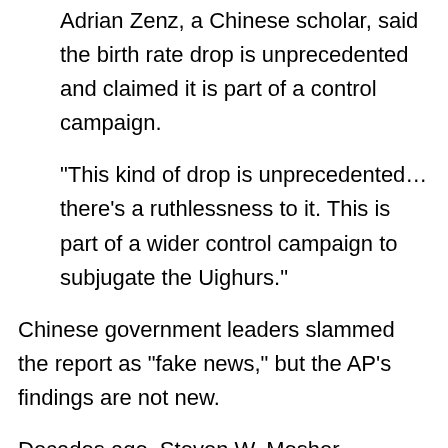Adrian Zenz, a Chinese scholar, said the birth rate drop is unprecedented and claimed it is part of a control campaign.
“This kind of drop is unprecedented… there’s a ruthlessness to it. This is part of a wider control campaign to subjugate the Uighurs.”
Chinese government leaders slammed the report as “fake news,” but the AP’s findings are not new.
Decades ago, Steven W. Mosher, president of the Population Research Institute, was one of the first people to expose the forced abortions and other horrific human rights abuses in China.
He wrote in 2012: “It is well known that those who